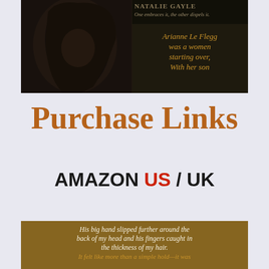[Figure (illustration): Book cover image showing a dark-haired woman with text 'NATALIE GAYLE One embraces it, the other dispels it.' and gold italic text 'Arianne Le Flegg was a women starting over, With her son']
Purchase Links
AMAZON US / UK
[Figure (illustration): Book excerpt image with text: 'His big hand slipped further around the back of my head and his fingers caught in the thickness of my hair. It felt like more than a simple hold—it was']